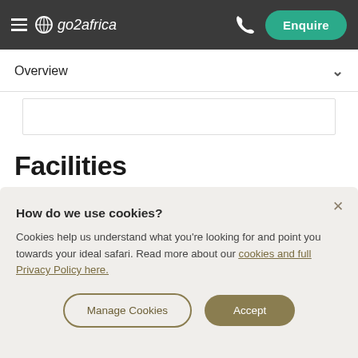go2africa | Enquire
Overview
Facilities
How do we use cookies?
Cookies help us understand what you're looking for and point you towards your ideal safari. Read more about our cookies and full Privacy Policy here.
Manage Cookies | Accept